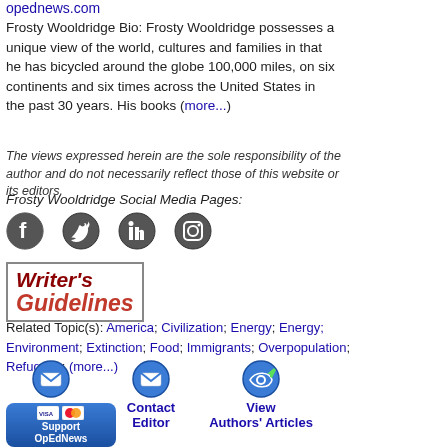opednews.com
Frosty Wooldridge Bio: Frosty Wooldridge possesses a unique view of the world, cultures and families in that he has bicycled around the globe 100,000 miles, on six continents and six times across the United States in the past 30 years. His books ((more...))
The views expressed herein are the sole responsibility of the author and do not necessarily reflect those of this website or its editors.
Frosty Wooldridge Social Media Pages:
[Figure (other): Social media icons: Facebook, Twitter, LinkedIn, Instagram]
[Figure (other): Writer's Guidelines logo/badge in red italic text with border]
Related Topic(s): America; Civilization; Energy; Energy; Environment; Extinction; Food; Immigrants; Overpopulation; Refugees; (more...)
[Figure (other): Contact Author button with envelope icon]
[Figure (other): Contact Editor button with envelope icon]
[Figure (other): View Authors' Articles button with arrow icon]
[Figure (other): Support OpEdNews button with Visa/Mastercard icons, blue rounded rectangle]